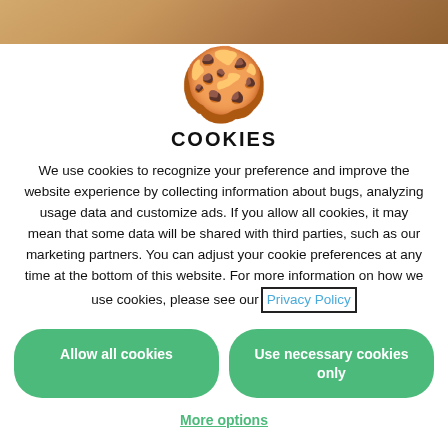[Figure (photo): Food photo strip at the top of the page]
What A Food Tracker Can Tell You About
[Figure (illustration): Cookie emoji (🍪) large centered above COOKIES heading]
COOKIES
We use cookies to recognize your preference and improve the website experience by collecting information about bugs, analyzing usage data and customize ads. If you allow all cookies, it may mean that some data will be shared with third parties, such as our marketing partners. You can adjust your cookie preferences at any time at the bottom of this website. For more information on how we use cookies, please see our Privacy Policy
Allow all cookies
Use necessary cookies only
More options